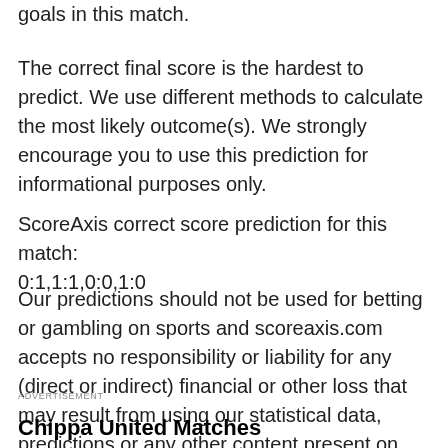We might have a chance that only one team will score goals in this match.
The correct final score is the hardest to predict. We use different methods to calculate the most likely outcome(s). We strongly encourage you to use this prediction for informational purposes only.
ScoreAxis correct score prediction for this match:
0:1,1:1,0:0,1:0
Our predictions should not be used for betting or gambling on sports and scoreaxis.com accepts no responsibility or liability for any (direct or indirect) financial or other loss that may result from using our statistical data, predictions or any other content present on this website.
ADVERTISEMENT
Chippa United Matches